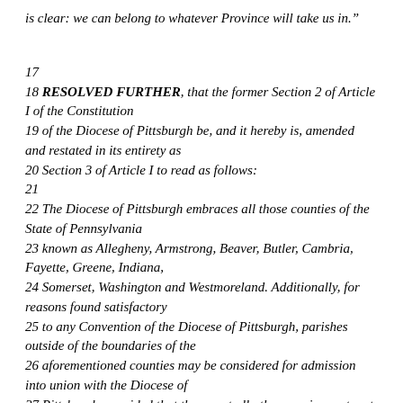is clear: we can belong to whatever Province will take us in.”
17
18 RESOLVED FURTHER, that the former Section 2 of Article I of the Constitution
19 of the Diocese of Pittsburgh be, and it hereby is, amended and restated in its entirety as
20 Section 3 of Article I to read as follows:
21
22 The Diocese of Pittsburgh embraces all those counties of the State of Pennsylvania
23 known as Allegheny, Armstrong, Beaver, Butler, Cambria, Fayette, Greene, Indiana,
24 Somerset, Washington and Westmoreland. Additionally, for reasons found satisfactory
25 to any Convention of the Diocese of Pittsburgh, parishes outside of the boundaries of the
26 aforementioned counties may be considered for admission into union with the Diocese of
27 Pittsburgh, provided that they meet all other requirements set forth in the Constitution
28 and Canons of the Diocese of Pittsburgh for canonical admis...